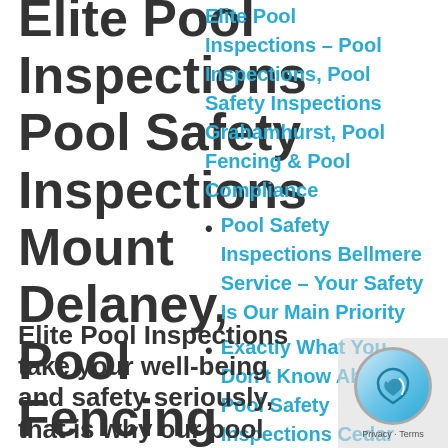Elite Pool Inspections Pool Safety Inspections Mount Delaney, Pool Fencing And Compliance
Elite Pool Inspections – Pool Inspections, Pool Safety Inspections Grahamhurst, Pool Fencing & Pool Compliance
Pool Safety Inspections Bellmere Service – Your Safety Is Our Main Priority
Exactly What You Don't Know About Pool Safety Inspections Cedar...
Elite Pool Inspections take your well-being and safety seriously, that is why our pool